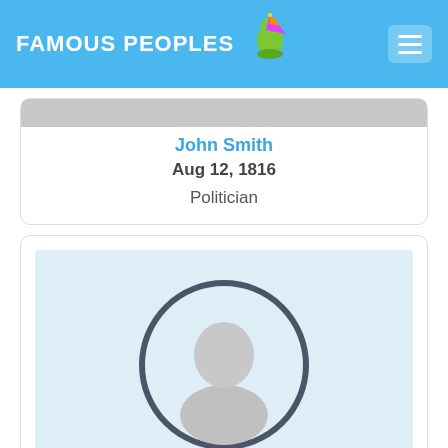FAMOUS PEOPLES
John Smith
Aug 12, 1816
Politician
[Figure (illustration): Default person silhouette placeholder image on light blue background]
John Swanwick